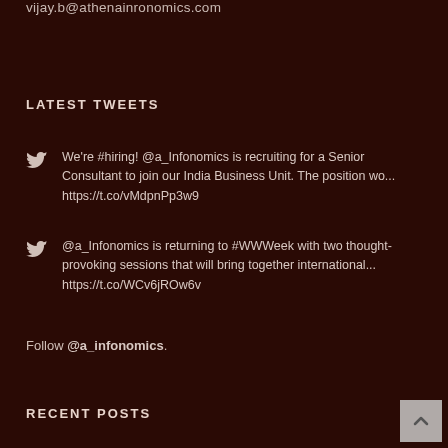vijay.b@athenainronomics.com
LATEST TWEETS
We're #hiring! @a_Infonomics is recruiting for a Senior Consultant to join our India Business Unit. The position wo... https://t.co/vMdpnPp3w9
@a_Infonomics is returning to #WWWeek with two thought-provoking sessions that will bring together international... https://t.co/WCv6jROw6v
Follow @a_infonomics.
RECENT POSTS